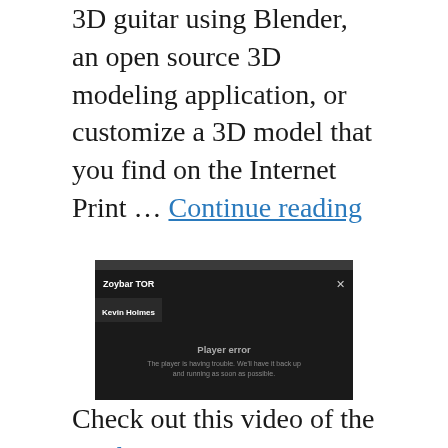3D guitar using Blender, an open source 3D modeling application, or customize a 3D model that you find on the Internet Print … Continue reading
[Figure (screenshot): A video player error screen showing 'Zoybar TOR' as title, 'Kevin Holmes' as author, and a 'Player error' message: 'The player is having trouble. We'll have it back up and running as soon as possible.']
Check out this video of the Zoybar TOR – a custom guitar that was 'printed' from a computer, using 3D modeling technology,